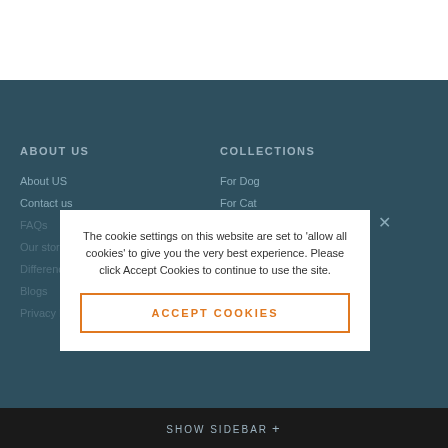ABOUT US
About US
Contact us
FAQs
Our story
Differences
Blogs
Privacy Policy
COLLECTIONS
For Dog
For Cat
Home Decor
New Arrivals
The cookie settings on this website are set to 'allow all cookies' to give you the very best experience. Please click Accept Cookies to continue to use the site.
ACCEPT COOKIES
SHOW SIDEBAR +